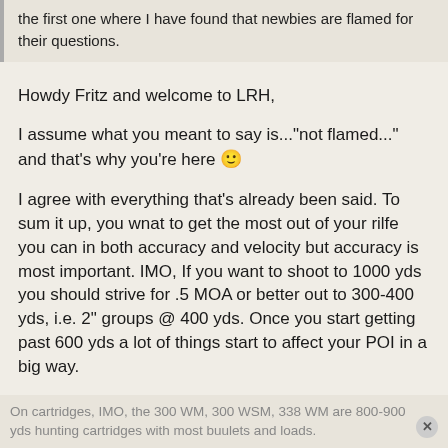...not the first one where I have found that newbies are flamed for their questions.
Howdy Fritz and welcome to LRH,
I assume what you meant to say is..."not flamed..." and that's why you're here 🙂
I agree with everything that's already been said. To sum it up, you wnat to get the most out of your rilfe you can in both accuracy and velocity but accuracy is most important. IMO, If you want to shoot to 1000 yds you should strive for .5 MOA or better out to 300-400 yds, i.e. 2" groups @ 400 yds. Once you start getting past 600 yds a lot of things start to affect your POI in a big way.
On cartridges, IMO, the 300 WM, 300 WSM, 338 WM are 800-900 yds hunting cartridges with most buulets and loads.